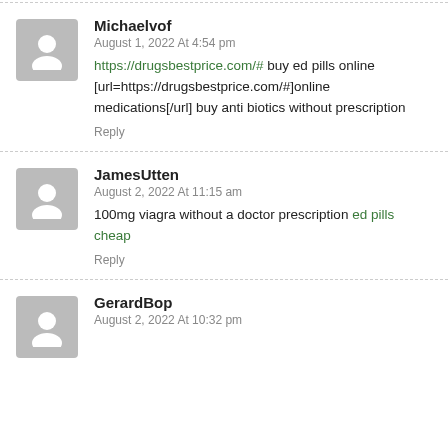Michaelvof
August 1, 2022 At 4:54 pm
https://drugsbestprice.com/# buy ed pills online [url=https://drugsbestprice.com/#]online medications[/url] buy anti biotics without prescription
Reply
JamesUtten
August 2, 2022 At 11:15 am
100mg viagra without a doctor prescription ed pills cheap
Reply
GerardBop
August 2, 2022 At 10:32 pm